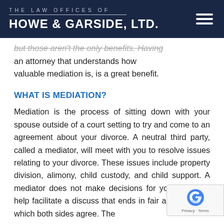THE LAW OFFICES OF HOWE & GARSIDE, LTD.
but those aren't the only benefits. Having an attorney that understands how valuable mediation is, is a great benefit.
WHAT IS MEDIATION?
Mediation is the process of sitting down with your spouse outside of a court setting to try and come to an agreement about your divorce. A neutral third party, called a mediator, will meet with you to resolve issues relating to your divorce. These issues include property division, alimony, child custody, and child support. A mediator does not make decisions for you; they just help facilitate a discuss that ends in fair agreement to which both sides agree. The